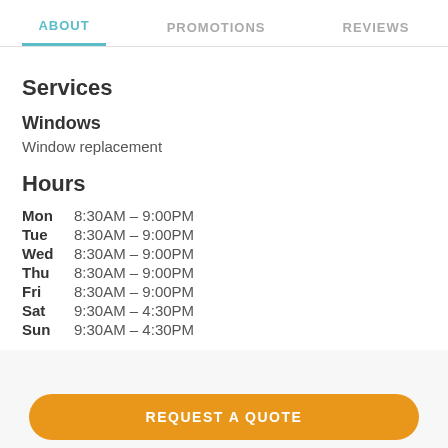ABOUT | PROMOTIONS | REVIEWS
Services
Windows
Window replacement
Hours
Mon  8:30AM – 9:00PM
Tue  8:30AM – 9:00PM
Wed  8:30AM – 9:00PM
Thu  8:30AM – 9:00PM
Fri  8:30AM – 9:00PM
Sat  9:30AM – 4:30PM
Sun  9:30AM – 4:30PM
REQUEST A QUOTE